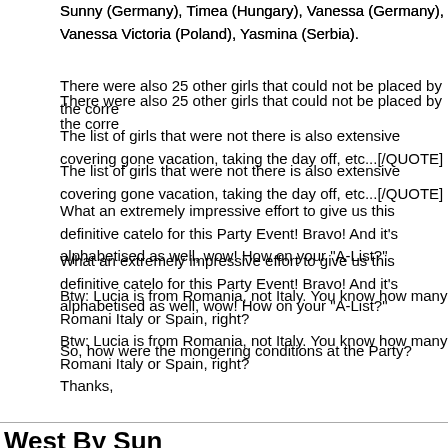Sunny (Germany), Timea (Hungary), Vanessa (Germany), Vanessa Victoria (Poland), Yasmina (Serbia).
There were also 25 other girls that could not be placed by the corre
The list of girls that were not there is also extensive covering gone vacation, taking the day off, etc...[/QUOTE]
What an extremely impressive effort to give us this definitive catelo for this Party Event! Bravo! And it's alphabetised as well, wow! How on your "A-List?"
Btw: Lucia is from Romania, not Italy. You know how many Romani Italy or Spain, right?
So, how were the mongering conditions at the Party?
Thanks,
Ortos
West By Sun
Lbc
[QUOTE=Londonbasketcase]There were in FKK Oase on Saturday